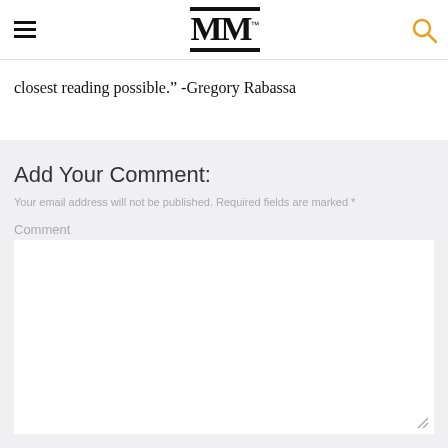MM
closest reading possible.” -Gregory Rabassa
Add Your Comment:
Your email address will not be published. Required fields are marked *
Comment